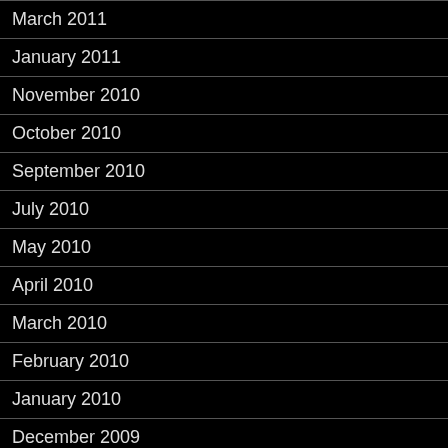March 2011
January 2011
November 2010
October 2010
September 2010
July 2010
May 2010
April 2010
March 2010
February 2010
January 2010
December 2009
November 2009